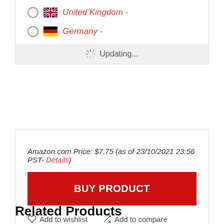United Kingdom -
Germany -
Updating...
Amazon.com Price: $7.75 (as of 23/10/2021 23:56 PST- Details)
BUY PRODUCT
Add to wishlist   Add to compare
Related Products